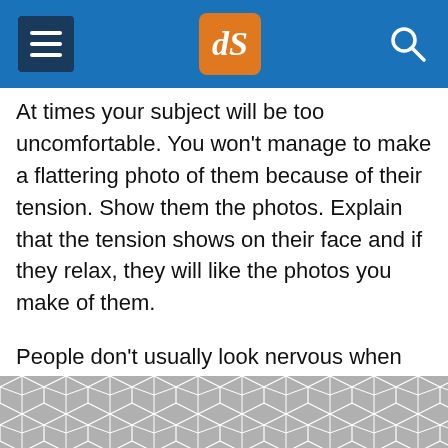dPS navigation header
At times your subject will be too uncomfortable. You won't manage to make a flattering photo of them because of their tension. Show them the photos. Explain that the tension shows on their face and if they relax, they will like the photos you make of them.
People don't usually look nervous when they view themselves in the bathroom mirror each morning. So when they see photos of themselves looking tense, it's very unnatural to them. They
[Figure (other): Advertisement banner with grey geometric hexagon/chevron pattern at the bottom of the page]